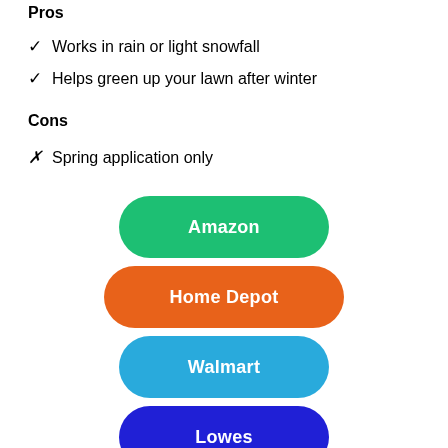Pros
✓ Works in rain or light snowfall
✓ Helps green up your lawn after winter
Cons
✗ Spring application only
[Figure (infographic): Four rounded rectangle buttons stacked vertically: Amazon (green), Home Depot (orange), Walmart (blue), Lowes (dark blue)]